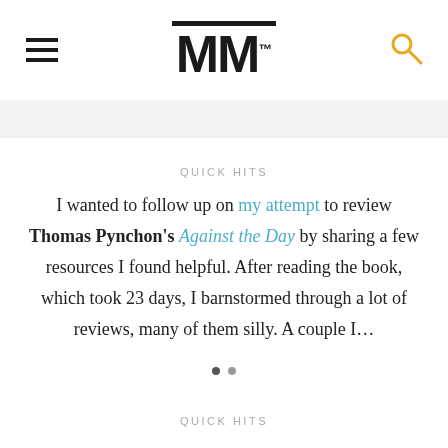MM
QUICK HITS
I wanted to follow up on my attempt to review Thomas Pynchon's Against the Day by sharing a few resources I found helpful. After reading the book, which took 23 days, I barnstormed through a lot of reviews, many of them silly. A couple I…
QUICK HITS